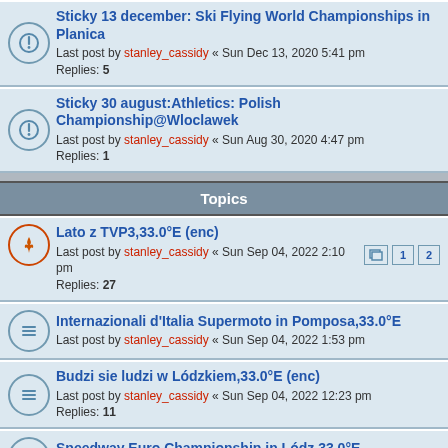Sticky 13 december: Ski Flying World Championships in Planica
Last post by stanley_cassidy « Sun Dec 13, 2020 5:41 pm
Replies: 5
Sticky 30 august:Athletics: Polish Championship@Wloclawek
Last post by stanley_cassidy « Sun Aug 30, 2020 4:47 pm
Replies: 1
Topics
Lato z TVP3,33.0°E (enc)
Last post by stanley_cassidy « Sun Sep 04, 2022 2:10 pm
Replies: 27
Internazionali d'Italia Supermoto in Pomposa,33.0°E
Last post by stanley_cassidy « Sun Sep 04, 2022 1:53 pm
Budzi sie ludzi w Lódzkiem,33.0°E (enc)
Last post by stanley_cassidy « Sun Sep 04, 2022 12:23 pm
Replies: 11
Speedway Euro Championship in Lódz,33.0°E
Last post by stanley_cassidy « Sun Sep 04, 2022 8:56 am
Mielec host the unveiling and consecration of the Monument to the Cursed Unbreakable Soldiers, the largest monument in P
Last post by stanley_cassidy « Sat Sep 03, 2022 12:11 pm
Ceremony of the losses sustained by Poland as a result of German aggression and occupation during WW2@at the